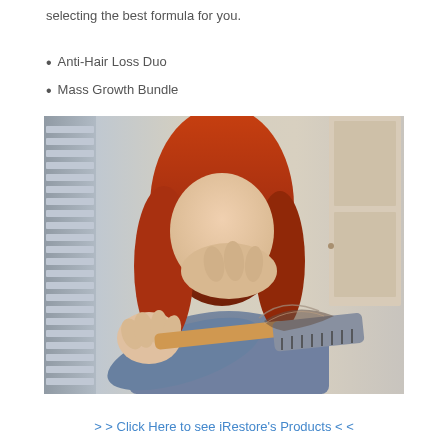selecting the best formula for you.
Anti-Hair Loss Duo
Mass Growth Bundle
[Figure (photo): Woman with red hair holding a hairbrush full of fallen hair toward the camera, covering her face with her other hand, wearing a grey sweater, indoor background with shutters and a door.]
> > Click Here to see iRestore's Products < <